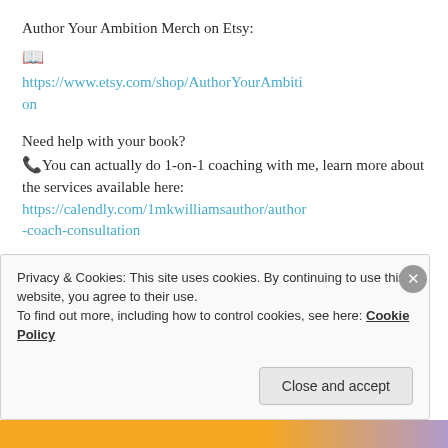Author Your Ambition Merch on Etsy:
📖
https://www.etsy.com/shop/AuthorYourAmbition
Need help with your book?
📞You can actually do 1-on-1 coaching with me, learn more about the services available here:
https://calendly.com/1mkwilliamsauthor/author-coach-consultation
GET ORGANIZED WHEN YOU SELF PUBLISH
WITH MY BOOK BIRTH CERTIFICATE:
Privacy & Cookies: This site uses cookies. By continuing to use this website, you agree to their use.
To find out more, including how to control cookies, see here: Cookie Policy
Close and accept